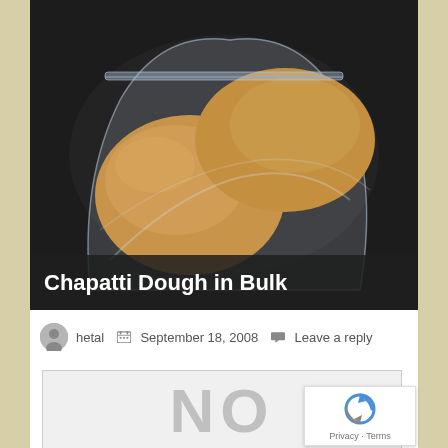[Figure (photo): Photo of chapatti dough balls in a clear plastic zip-lock bag on a dark background]
Chapatti Dough in Bulk
hetal  September 18, 2008  Leave a reply
[Figure (photo): Placeholder image showing large grey letters 'NO']